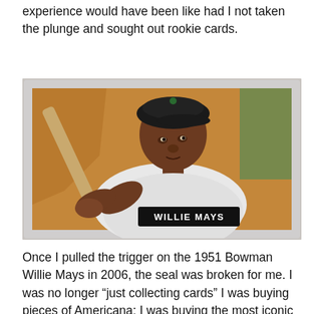experience would have been like had I not taken the plunge and sought out rookie cards.
[Figure (photo): A vintage 1951 Bowman Willie Mays baseball card encased in a protective plastic holder. The card shows Willie Mays holding a baseball bat in a batting stance, wearing a white uniform. A black nameplate at the bottom reads 'WILLIE MAYS'. The background of the card is orange/brown tones.]
Once I pulled the trigger on the 1951 Bowman Willie Mays in 2006, the seal was broken for me. I was no longer “just collecting cards” I was buying pieces of Americana; I was buying the most iconic baseball cards created. And because I had gone down that route, it seems as though I